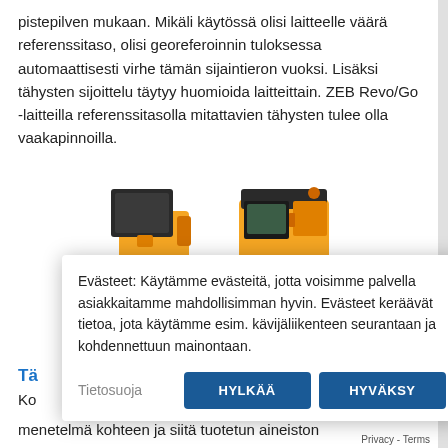pistepilven mukaan. Mikäli käytössä olisi laitteelle väärä referenssitaso, olisi georeferoinnin tuloksessa automaattisesti virhe tämän sijaintieron vuoksi. Lisäksi tähysten sijoittelu täytyy huomioida laitteittain. ZEB Revo/Go -laitteilla referenssitasolla mitattavien tähysten tulee olla vaakapinnoilla.
[Figure (photo): Two orange and black surveying/scanning instruments (ZEB Revo and ZEB Go) shown side by side on a white background.]
Evästeet: Käytämme evästeitä, jotta voisimme palvella asiakkaitamme mahdollisimman hyvin. Evästeet keräävät tietoa, jota käytämme esim. kävijäliikenteen seurantaan ja kohdennettuun mainontaan.
Tietosuoja  HYLKÄÄ  HYVÄKSY
Tä
Ko
menetelmä kohteen ja siitä tuotetun aineiston